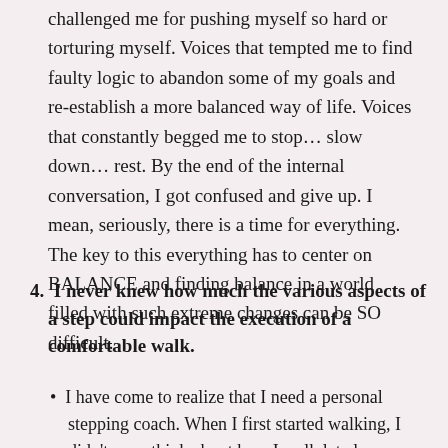challenged me for pushing myself so hard or torturing myself.  Voices that tempted me to find faulty logic to abandon some of my goals and re-establish a more balanced way of life.  Voices that constantly begged me to stop… slow down… rest.  By the end of the internal conversation, I got confused and give up.  I mean, seriously, there is a time for everything.  The key to this everything has to center on BALANCE and finding balance in a world filled with such extreme changes can be SO difficult.
4. I never knew how much the various aspects of a step could impact the execution of a comfortable walk.
I have come to realize that I need a personal stepping coach.  When I first started walking, I didn't even think about how I walk let alone